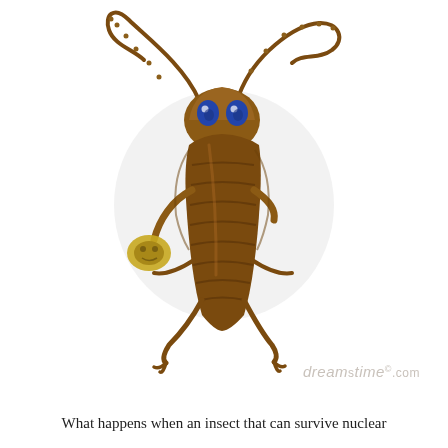[Figure (illustration): Cartoon illustration of an anthropomorphized cockroach standing upright on two legs, holding a small yellow flower or cookie. The cockroach has large blue eyes with a sad or worried expression, two long segmented antennae curling upward, a brown segmented body with detailed ridges, and thin jointed legs. A faint grey circular watermark/shadow is visible behind the figure.]
What happens when an insect that can survive nuclear